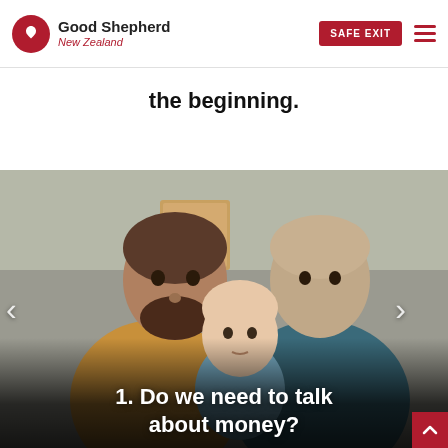Good Shepherd New Zealand — SAFE EXIT
the beginning.
[Figure (photo): Two men holding a baby in a domestic interior setting. The man on the left wears a mustard/yellow t-shirt and has a beard. The man on the right wears a dark teal t-shirt and has an ear gauge. They hold a young infant dressed in light blue. Carousel navigation arrows visible on left and right sides.]
1. Do we need to talk about money?